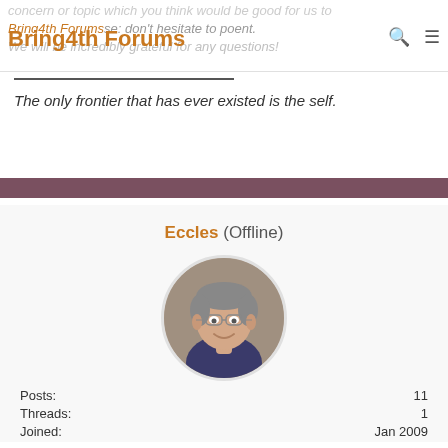Bring4th Forums
The only frontier that has ever existed is the self.
Eccles (Offline)
[Figure (photo): Circular profile photo of a middle-aged man with glasses, gray hair, smiling, wearing glasses]
Newbie
| Label | Value |
| --- | --- |
| Posts: | 11 |
| Threads: | 1 |
| Joined: | Jan 2009 |